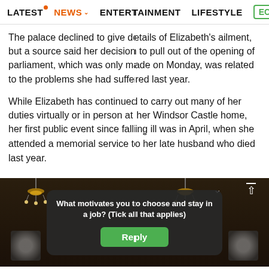LATEST  NEWS  ENTERTAINMENT  LIFESTYLE  EC>
The palace declined to give details of Elizabeth's ailment, but a source said her decision to pull out of the opening of parliament, which was only made on Monday, was related to the problems she had suffered last year.
While Elizabeth has continued to carry out many of her duties virtually or in person at her Windsor Castle home, her first public event since falling ill was in April, when she attended a memorial service to her late husband who died last year.
[Figure (photo): Cathedral interior with chandeliers and stage lights, partially obscured by a dark survey overlay popup asking 'What motivates you to choose and stay in a job? (Tick all that applies)' with a green Reply button.]